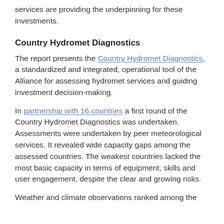services are providing the underpinning for these investments.
Country Hydromet Diagnostics
The report presents the Country Hydromet Diagnostics, a standardized and integrated, operational tool of the Alliance for assessing hydromet services and guiding investment decision-making.
In partnership with 16 countries a first round of the Country Hydromet Diagnostics was undertaken. Assessments were undertaken by peer meteorological services. It revealed wide capacity gaps among the assessed countries. The weakest countries lacked the most basic capacity in terms of equipment, skills and user engagement, despite the clear and growing risks.
Weather and climate observations ranked among the